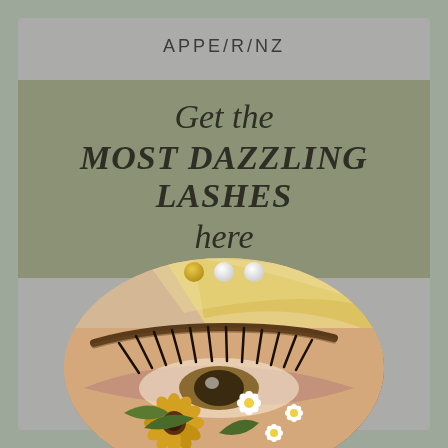APPE/R/NZ
Get the MOST DAZZLING LASHES here
[Figure (illustration): Close-up oval-cropped illustration of a human eye with dramatic lashes decorated with painted sunflower and daisy flowers, with blonde hair visible. Three navigation dots (gold, white, white) appear above the oval image.]